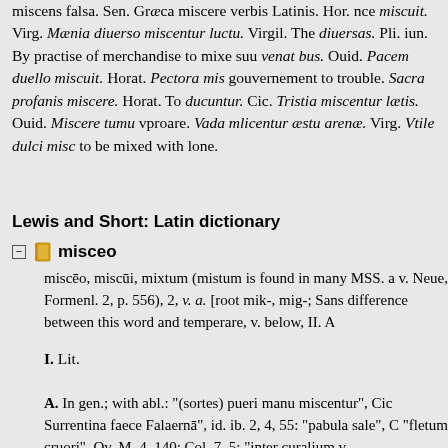miscens falsa. Sen. Graeca miscere verbis Latinis. Hor. nce miscuit. Virg. Maenia diuerso miscentur luctu. Virgil. The diuersas. Pli. iun. By practise of merchandise to mixe suu venat bus. Ouid. Pacem duello miscuit. Horat. Pectora mis gouvernement to trouble. Sacra profanis miscere. Horat. To ducuntur. Cic. Tristia miscentur laetis. Ouid. Miscere tumu vproare. Vada mlicentur aestu arenae. Virg. Vtile dulci misc to be mixed with lone.
Lewis and Short: Latin dictionary
misceo
misceo, miscui, mixtum (mistum is found in many MSS. a v. Neue, Formenl. 2, p. 556), 2, v. a. [root mik-, mig-; Sans difference between this word and temperare, v. below, II. A
I. Lit.
A. In gen.; with abl.: "(sortes) pueri manu miscentur", Cic Surrentina faece Falerna", id. ib. 2, 4, 55: "pabula sale", C "fletum cruori", Ov. M. 4, 140; Col. 7, 5: "inter curalium v —
B. In partic.
1. To join one's self to, have carnal intercourse with one: " aliquo misceri in Venerem", App. M. 9, p. 228, 16: "sangu